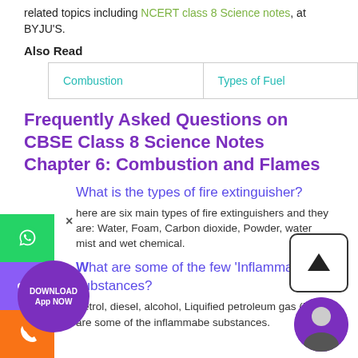related topics including NCERT class 8 Science notes, at BYJU'S.
Also Read
| Combustion | Types of Fuel |
Frequently Asked Questions on CBSE Class 8 Science Notes Chapter 6: Combustion and Flames
What is the types of fire extinguisher?
There are six main types of fire extinguishers and they are: Water, Foam, Carbon dioxide, Powder, water mist and wet chemical.
What are some of the few ‘Inflammable’ substances?
Petrol, diesel, alcohol, Liquified petroleum gas (LPG) are some of the inflammabe substances.